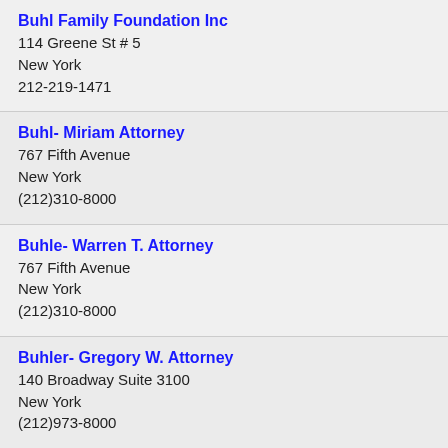Buhl Family Foundation Inc
114 Greene St # 5
New York
212-219-1471
Buhl- Miriam Attorney
767 Fifth Avenue
New York
(212)310-8000
Buhle- Warren T. Attorney
767 Fifth Avenue
New York
(212)310-8000
Buhler- Gregory W. Attorney
140 Broadway Suite 3100
New York
(212)973-8000
Buice William T III Attorney
330 Madison Avenue
New York
(212)557-0905